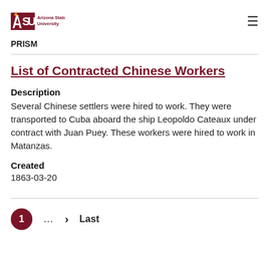Arizona State University — PRISM
List of Contracted Chinese Workers
Description
Several Chinese settlers were hired to work. They were transported to Cuba aboard the ship Leopoldo Cateaux under contract with Juan Puey. These workers were hired to work in Matanzas.
Created
1863-03-20
1 … > Last